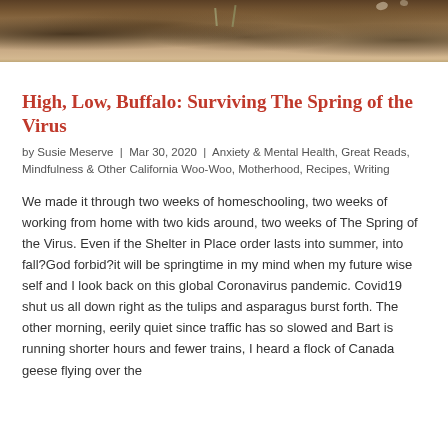[Figure (photo): Close-up photo of earth/soil and plant stems or leaves, appearing as a cropped top portion of an outdoor nature photo]
High, Low, Buffalo: Surviving The Spring of the Virus
by Susie Meserve | Mar 30, 2020 | Anxiety & Mental Health, Great Reads, Mindfulness & Other California Woo-Woo, Motherhood, Recipes, Writing
We made it through two weeks of homeschooling, two weeks of working from home with two kids around, two weeks of The Spring of the Virus. Even if the Shelter in Place order lasts into summer, into fall?God forbid?it will be springtime in my mind when my future wise self and I look back on this global Coronavirus pandemic. Covid19 shut us all down right as the tulips and asparagus burst forth. The other morning, eerily quiet since traffic has so slowed and Bart is running shorter hours and fewer trains, I heard a flock of Canada geese flying over the